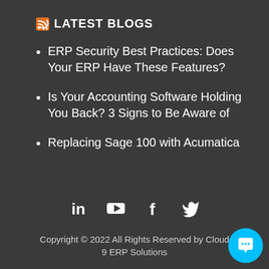LATEST BLOGS
ERP Security Best Practices: Does Your ERP Have These Features?
Is Your Accounting Software Holding You Back? 3 Signs to Be Aware of
Replacing Sage 100 with Acumatica
[Figure (infographic): Social media icons: LinkedIn, YouTube, Facebook, Twitter]
Copyright © 2022 All Rights Reserved by Cloud 9 ERP Solutions